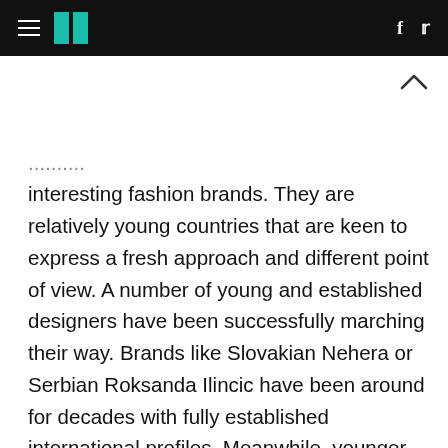HuffPost navigation header with hamburger menu, logo, Facebook and Twitter icons
interesting fashion brands. They are relatively young countries that are keen to express a fresh approach and different point of view. A number of young and established designers have been successfully marching their way. Brands like Slovakian Nehera or Serbian Roksanda Ilincic have been around for decades with fully established international profiles. Meanwhile, younger designers and brands from new Europe are definitely making a history at the given moment; a 20-year-old Anna K from Ukraine have been followed by fashionistas around the